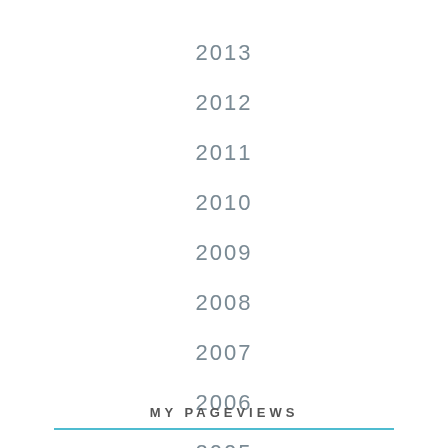2013
2012
2011
2010
2009
2008
2007
2006
2005
MY PAGEVIEWS